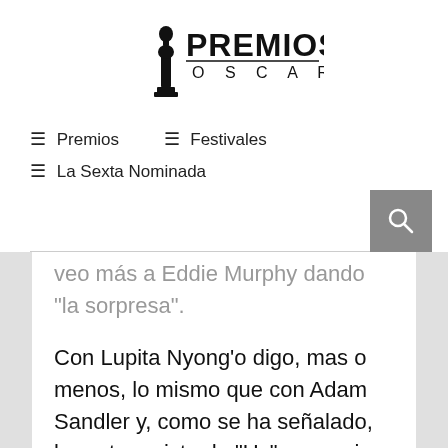[Figure (logo): Premios Oscar logo with Oscar statuette silhouette and text PREMIOS OSCAR]
≡ Premios
≡ Festivales
≡ La Sexta Nominada
veo más a Eddie Murphy dando "la sorpresa".
Con Lupita Nyong'o digo, mas o menos, lo mismo que con Adam Sandler y, como se ha señalado, la protagonista de "Us" va camino de ser la nueva Toni Collette. En Actriz